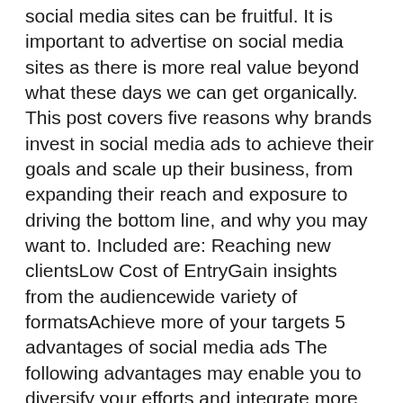social media sites can be fruitful. It is important to advertise on social media sites as there is more real value beyond what these days we can get organically. This post covers five reasons why brands invest in social media ads to achieve their goals and scale up their business, from expanding their reach and exposure to driving the bottom line, and why you may want to. Included are: Reaching new clientsLow Cost of EntryGain insights from the audiencewide variety of formatsAchieve more of your targets 5 advantages of social media ads The following advantages may enable you to diversify your efforts and integrate more social media into your mix, whether you are new to social media advertising and are considering the investment or are already running advertisements elsewhere, such as on Google. 1. Reaching new clients Social media advertising helps you to reach out to and communicate with new people who